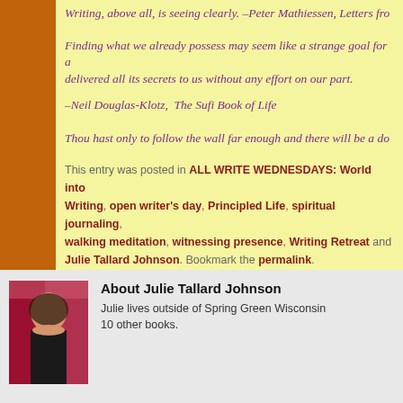Writing, above all, is seeing clearly. –Peter Mathiessen, Letters fro…
Finding what we already possess may seem like a strange goal for a… delivered all its secrets to us without any effort on our part.
–Neil Douglas-Klotz,  The Sufi Book of Life
Thou hast only to follow the wall far enough and there will be a do…
This entry was posted in ALL WRITE WEDNESDAYS: World int… Writing, open writer's day, Principled Life, spiritual journaling… walking meditation, witnessing presence, Writing Retreat and… Julie Tallard Johnson. Bookmark the permalink.
About Julie Tallard Johnson
Julie lives outside of Spring Green Wisconsin… 10 other books…
[Figure (photo): Author photo of Julie Tallard Johnson]